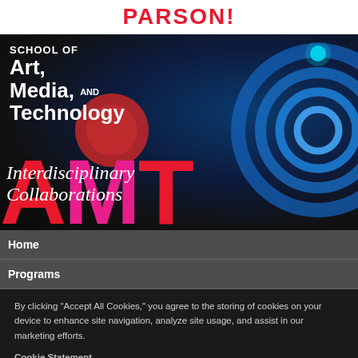PARSONS!
[Figure (screenshot): Hero image showing School of Art, Media, and Technology with AMT letters overlay and Interdisciplinary Collaborations text over a dark photo background with blue glowing circles]
Home
Programs
By clicking “Accept All Cookies,” you agree to the storing of cookies on your device to enhance site navigation, analyze site usage, and assist in our marketing efforts.
Cookie Statement